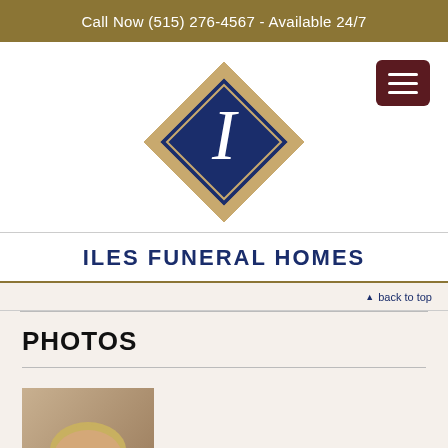Call Now (515) 276-4567 - Available 24/7
[Figure (logo): Iles Funeral Homes diamond-shaped logo with blue background and cursive 'I' initial, framed in gold/tan diamond border]
ILES FUNERAL HOMES
▲ back to top
PHOTOS
[Figure (photo): Vintage portrait photo of a middle-aged woman with light wavy hair and glasses, wearing a red top with white collar, smiling]